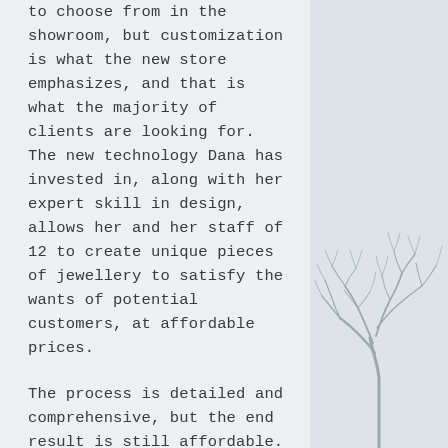to choose from in the showroom, but customization is what the new store emphasizes, and that is what the majority of clients are looking for. The new technology Dana has invested in, along with her expert skill in design, allows her and her staff of 12 to create unique pieces of jewellery to satisfy the wants of potential customers, at affordable prices.
The process is detailed and comprehensive, but the end result is still affordable. Hand sketches are transformed through computer aided design software into realistic images. They are then transformed into 3D models through the new printers. From there a metal mold is created, which leads to a finished product in primarily gold or platinum. It may sound
[Figure (illustration): Decorative sidebar with silhouette of bare winter tree branches against a light grey-blue background]